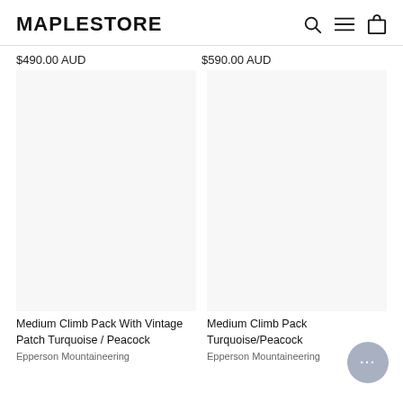MAPLESTORE
$490.00 AUD
$590.00 AUD
[Figure (photo): Product image area for Medium Climb Pack With Vintage Patch Turquoise / Peacock (left column, mostly white/blank)]
[Figure (photo): Product image area for Medium Climb Pack Turquoise/Peacock (right column, mostly white/blank)]
Medium Climb Pack With Vintage Patch Turquoise / Peacock
Epperson Mountaineering
Medium Climb Pack Turquoise/Peacock
Epperson Mountaineering